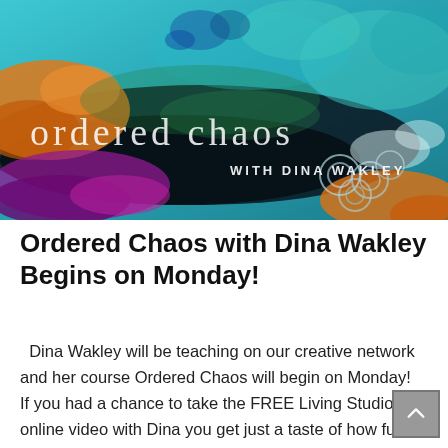[Figure (illustration): Banner image for 'Ordered Chaos with Dina Wakley' online art course. Abstract colorful painting in teal, orange, purple, and blue tones with text overlay reading 'ordered chaos WITH DINA WAKLEY'.]
Ordered Chaos with Dina Wakley Begins on Monday!
Dina Wakley will be teaching on our creative network and her course Ordered Chaos will begin on Monday! If you had a chance to take the FREE Living Studio online video with Dina you get just a taste of how fun, easy to follow and colorful her art is. You can't leave time with